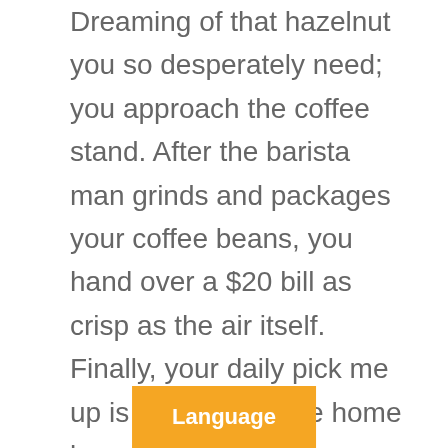Dreaming of that hazelnut you so desperately need; you approach the coffee stand. After the barista man grinds and packages your coffee beans, you hand over a $20 bill as crisp as the air itself. Finally, your daily pick me up is ready for some home brewing.

You fill your French Press with those fresh scented, ground beans and hot water. You try something d bottles of
[Figure (other): Orange 'Language' button overlay at the bottom center of the page]